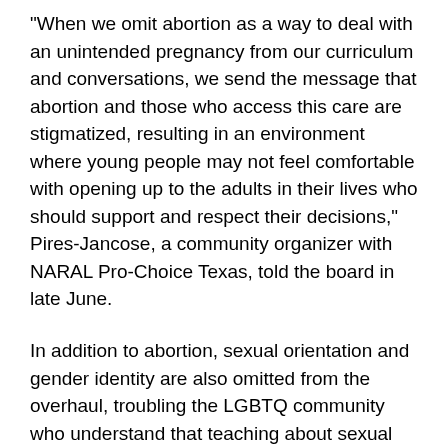“When we omit abortion as a way to deal with an unintended pregnancy from our curriculum and conversations, we send the message that abortion and those who access this care are stigmatized, resulting in an environment where young people may not feel comfortable with opening up to the adults in their lives who should support and respect their decisions,” Pires-Jancose, a community organizer with NARAL Pro-Choice Texas, told the board in late June.
In addition to abortion, sexual orientation and gender identity are also omitted from the overhaul, troubling the LGBTQ community who understand that teaching about sexual orientation is vital to creating a safe environment for queer youth.
“We are deeply concerned that these standards don’t even